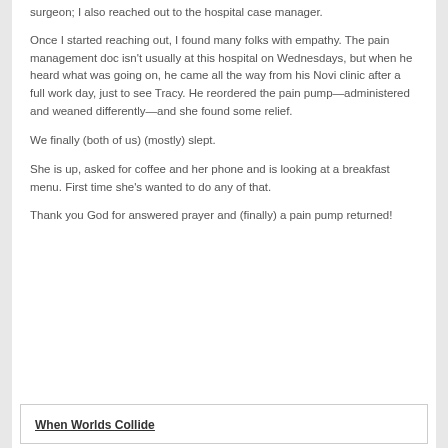surgeon; I also reached out to the hospital case manager.
Once I started reaching out, I found many folks with empathy. The pain management doc isn't usually at this hospital on Wednesdays, but when he heard what was going on, he came all the way from his Novi clinic after a full work day, just to see Tracy. He reordered the pain pump—administered and weaned differently—and she found some relief.
We finally (both of us) (mostly) slept.
She is up, asked for coffee and her phone and is looking at a breakfast menu. First time she's wanted to do any of that.
Thank you God for answered prayer and (finally) a pain pump returned!
When Worlds Collide